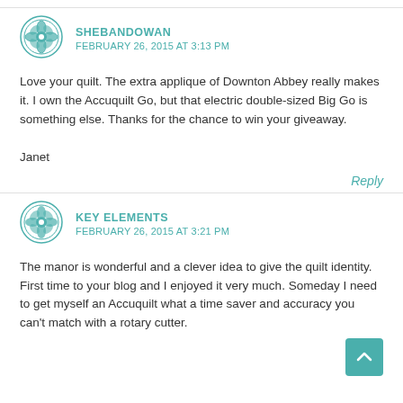SHEBANDOWAN — FEBRUARY 26, 2015 AT 3:13 PM
Love your quilt. The extra applique of Downton Abbey really makes it. I own the Accuquilt Go, but that electric double-sized Big Go is something else. Thanks for the chance to win your giveaway.

Janet
Reply
KEY ELEMENTS — FEBRUARY 26, 2015 AT 3:21 PM
The manor is wonderful and a clever idea to give the quilt identity. First time to your blog and I enjoyed it very much. Someday I need to get myself an Accuquilt what a time saver and accuracy you can't match with a rotary cutter.